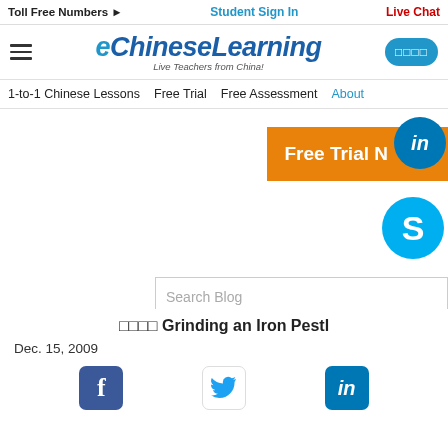Toll Free Numbers ▶   Student Sign In   Live Chat
[Figure (logo): eChineseLearning logo with tagline 'Live Teachers from China!']
1-to-1 Chinese Lessons   Free Trial   Free Assessment   About
[Figure (other): Free Trial Now button in orange with LinkedIn and Skype social icons]
[Figure (other): Search Blog input field]
□□□□ Grinding an Iron Pestle
Dec. 15, 2009
[Figure (other): Social share icons: Facebook, Twitter, LinkedIn]